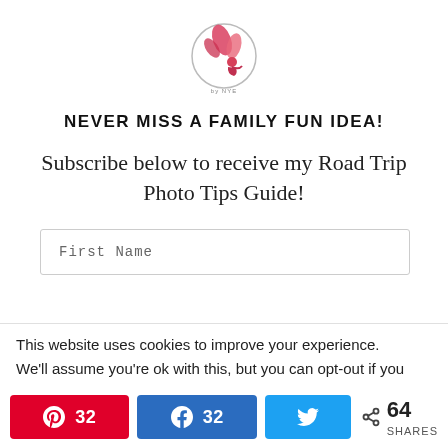[Figure (logo): Circular logo with a pink/red floral and figure illustration, text below reads 'by NYE']
NEVER MISS A FAMILY FUN IDEA!
Subscribe below to receive my Road Trip Photo Tips Guide!
First Name
This website uses cookies to improve your experience.
We'll assume you're ok with this, but you can opt-out if you
32  32  64 SHARES